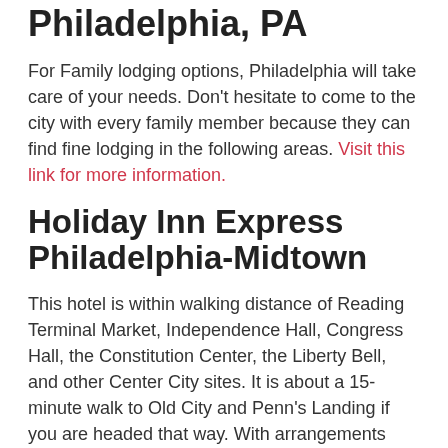Philadelphia, PA
For Family lodging options, Philadelphia will take care of your needs. Don't hesitate to come to the city with every family member because they can find fine lodging in the following areas. Visit this link for more information.
Holiday Inn Express Philadelphia-Midtown
This hotel is within walking distance of Reading Terminal Market, Independence Hall, Congress Hall, the Constitution Center, the Liberty Bell, and other Center City sites. It is about a 15-minute walk to Old City and Penn's Landing if you are headed that way. With arrangements made ahead of time, you can have the hop-on, hop-off bus tour pick you up here for additional convenience. The Holiday Inn Express...